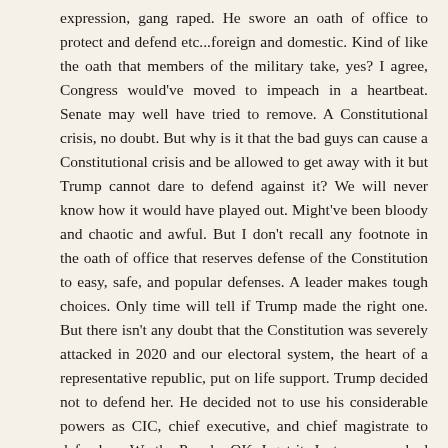expression, gang raped. He swore an oath of office to protect and defend etc...foreign and domestic. Kind of like the oath that members of the military take, yes? I agree, Congress would've moved to impeach in a heartbeat. Senate may well have tried to remove. A Constitutional crisis, no doubt. But why is it that the bad guys can cause a Constitutional crisis and be allowed to get away with it but Trump cannot dare to defend against it? We will never know how it would have played out. Might've been bloody and chaotic and awful. But I don't recall any footnote in the oath of office that reserves defense of the Constitution to easy, safe, and popular defenses. A leader makes tough choices. Only time will tell if Trump made the right one. But there isn't any doubt that the Constitution was severely attacked in 2020 and our electoral system, the heart of a representative republic, put on life support. Trump decided not to defend her. He decided not to use his considerable powers as CIC, chief executive, and chief magistrate to defend us, We the People. OK. I get it. Just one man, had his reasons, surrounded by traitors and cowards... But let's not